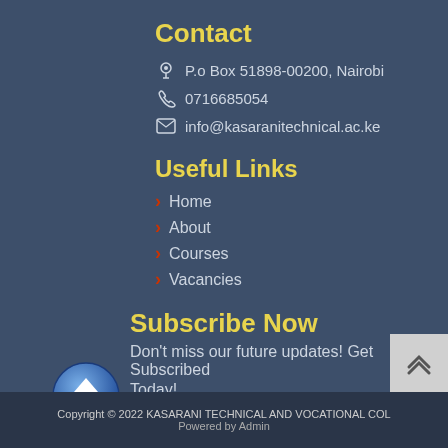Contact
P.o Box 51898-00200, Nairobi
0716685054
info@kasaranitechnical.ac.ke
Useful Links
Home
About
Courses
Vacancies
Subscribe Now
Don't miss our future updates! Get Subscribed Today!
Your mail here
Copyright © 2022 KASARANI TECHNICAL AND VOCATIONAL COL
Powered by Admin